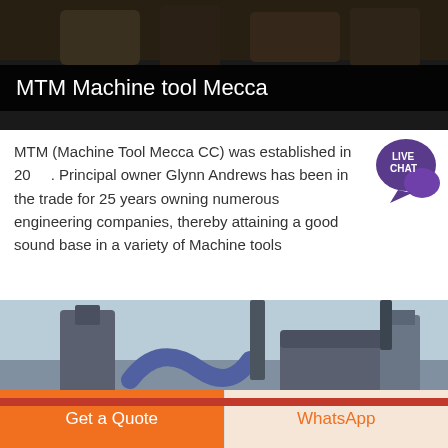[Figure (photo): Industrial machinery / machine tools facility, dark overhead image]
MTM Machine tool Mecca
MTM (Machine Tool Mecca CC) was established in 20... Principal owner Glynn Andrews has been in the trade for 25 years owning numerous engineering companies, thereby attaining a good sound base in a variety of Machine tools
[Figure (photo): Industrial milling/grinding machine equipment outdoors]
Get a Quote | WhatsApp